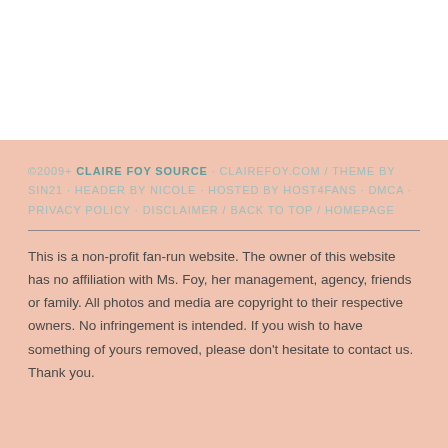©2009+ CLAIRE FOY SOURCE · CLAIREFOY.COM / THEME BY SIN21 · HEADER BY NICOLE · HOSTED BY HOST4FANS · DMCA · PRIVACY POLICY · DISCLAIMER / BACK TO TOP / HOMEPAGE
This is a non-profit fan-run website. The owner of this website has no affiliation with Ms. Foy, her management, agency, friends or family. All photos and media are copyright to their respective owners. No infringement is intended. If you wish to have something of yours removed, please don't hesitate to contact us. Thank you.